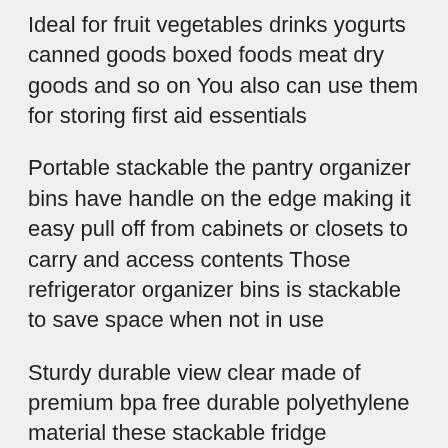Ideal for fruit vegetables drinks yogurts canned goods boxed foods meat dry goods and so on You also can use them for storing first aid essentials
Portable stackable the pantry organizer bins have handle on the edge making it easy pull off from cabinets or closets to carry and access contents Those refrigerator organizer bins is stackable to save space when not in use
Sturdy durable view clear made of premium bpa free durable polyethylene material these stackable fridge organizers are very sturdy The clear view allows quickly see whats stored inside without having to take the whole bin out of the fridge Easy to clean please clean these pantry organizer bins by hand with mild soap and warm water These refrigerator organizer bins are not dishwasher safe please do not clean them in dishwasher The size is enough large for your kitchen every one is 101